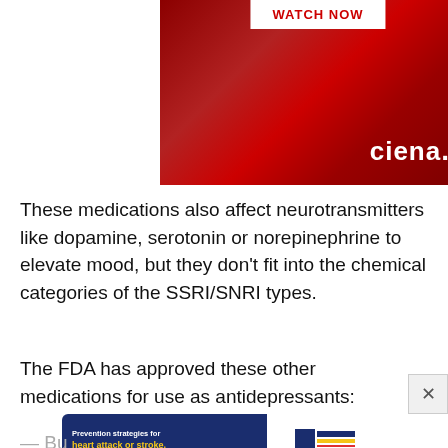[Figure (advertisement): Ciena advertisement with dark red background showing WATCH NOW button at top and Ciena logo at bottom right]
These medications also affect neurotransmitters like dopamine, serotonin or norepinephrine to elevate mood, but they don't fit into the chemical categories of the SSRI/SNRI types.
The FDA has approved these other medications for use as antidepressants:
[Figure (advertisement): MedStar Health advertisement with dark blue rounded rectangle background: Prevention strategies for heart attack or stroke. Schedule a consultation. MedStar Health logo on white right side.]